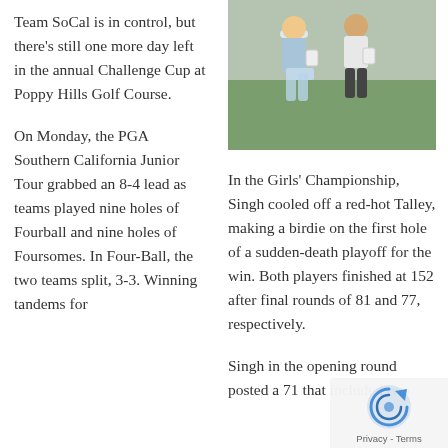Team SoCal is in control, but there's still one more day left in the annual Challenge Cup at Poppy Hills Golf Course.
On Monday, the PGA Southern California Junior Tour grabbed an 8-4 lead as teams played nine holes of Fourball and nine holes of Foursomes. In Four-Ball, the two teams split, 3-3. Winning tandems for
[Figure (photo): Two people standing outdoors, possibly holding trophies or awards, with greenery in background.]
In the Girls' Championship, Singh cooled off a red-hot Talley, making a birdie on the first hole of a sudden-death playoff for the win. Both players finished at 152 after final rounds of 81 and 77, respectively.
Singh in the opening round posted a 71 that included two